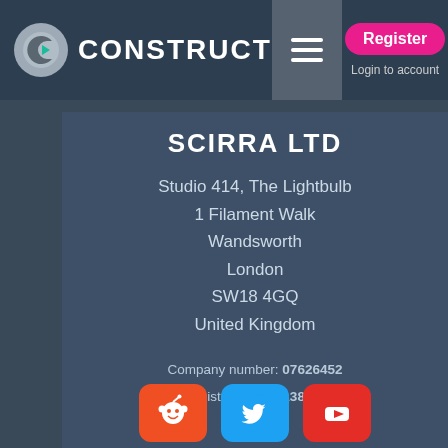Construct — Register | Login to account
SCIRRA LTD
Studio 414, The Lightbulb
1 Filament Walk
Wandsworth
London
SW18 4GQ
United Kingdom
Company number: 07626452
VAT registration: GB138656875
[Figure (logo): Reddit, Twitter, and YouTube social media icons]